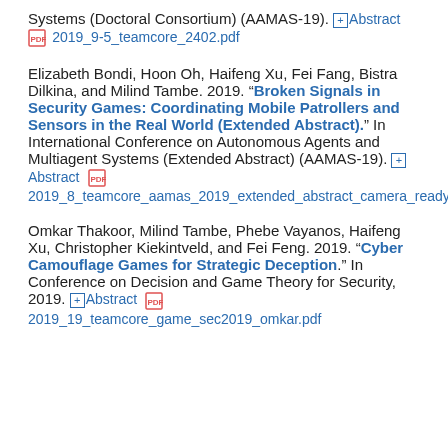Systems (Doctoral Consortium) (AAMAS-19). +Abstract [PDF] 2019_9-5_teamcore_2402.pdf
Elizabeth Bondi, Hoon Oh, Haifeng Xu, Fei Fang, Bistra Dilkina, and Milind Tambe. 2019. "Broken Signals in Security Games: Coordinating Mobile Patrollers and Sensors in the Real World (Extended Abstract)." In International Conference on Autonomous Agents and Multiagent Systems (Extended Abstract) (AAMAS-19). +Abstract [PDF] 2019_8_teamcore_aamas_2019_extended_abstract_camera_ready.pdf
Omkar Thakoor, Milind Tambe, Phebe Vayanos, Haifeng Xu, Christopher Kiekintveld, and Fei Feng. 2019. "Cyber Camouflage Games for Strategic Deception." In Conference on Decision and Game Theory for Security, 2019. +Abstract [PDF] 2019_19_teamcore_game_sec2019_omkar.pdf